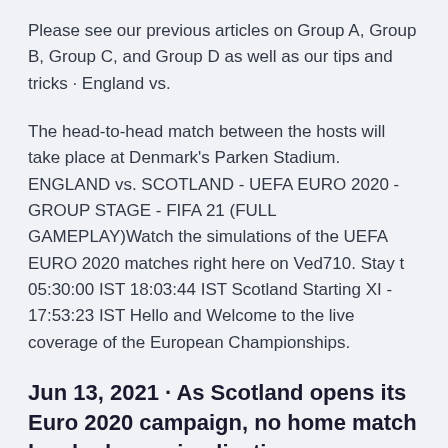Please see our previous articles on Group A, Group B, Group C, and Group D as well as our tips and tricks · England vs.
The head-to-head match between the hosts will take place at Denmark's Parken Stadium. ENGLAND vs. SCOTLAND - UEFA EURO 2020 - GROUP STAGE - FIFA 21 (FULL GAMEPLAY)Watch the simulations of the UEFA EURO 2020 matches right here on Ved710. Stay t 05:30:00 IST 18:03:44 IST Scotland Starting XI - 17:53:23 IST Hello and Welcome to the live coverage of the European Championships.
Jun 13, 2021 · As Scotland opens its Euro 2020 campaign, no home match has had more implications